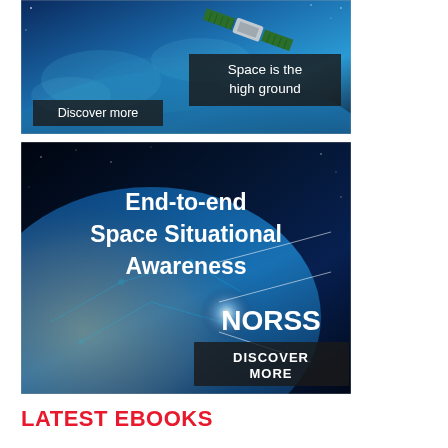[Figure (photo): Advertisement image showing a satellite over Earth with text overlay 'Space is the high ground' and button 'Discover more']
[Figure (photo): Advertisement image showing Earth from space at night with city lights and text 'End-to-end Space Situational Awareness' with NORSS logo and 'DISCOVER MORE' button]
LATEST EBOOKS